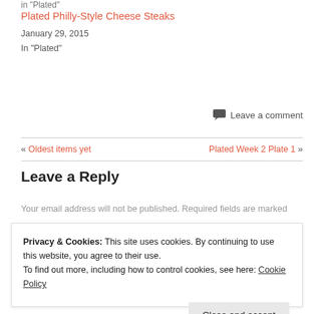in "Plated"
Plated Philly-Style Cheese Steaks
January 29, 2015
In "Plated"
Leave a comment
« Oldest items yet    Plated Week 2 Plate 1 »
Leave a Reply
Your email address will not be published. Required fields are marked
Privacy & Cookies: This site uses cookies. By continuing to use this website, you agree to their use.
To find out more, including how to control cookies, see here: Cookie Policy
Close and accept